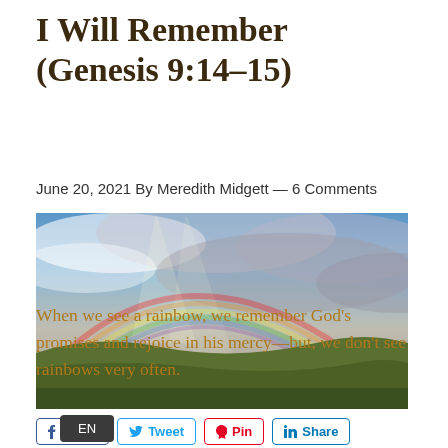I Will Remember (Genesis 9:14–15)
June 20, 2021 By Meredith Midgett — 6 Comments
[Figure (photo): Panoramic landscape photo showing a rainbow arching over rolling green hills under a dramatic cloudy sky with rays of light breaking through]
When we see a rainbow, we remember God's promises and rejoice in his mercy—but, we don't see rainbows very often.